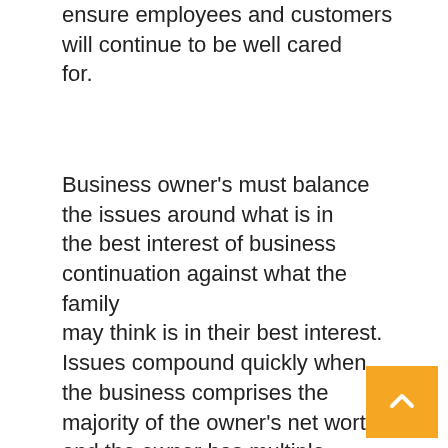ensure employees and customers will continue to be well cared for.
Business owner's must balance the issues around what is in the best interest of business continuation against what the family may think is in their best interest. Issues compound quickly when the business comprises the majority of the owner's net worth and the owner has multiple children and wants to treat the children “fairly”.  Fair does not always mean equal. In some cases, the fairest succession solution is a unequal